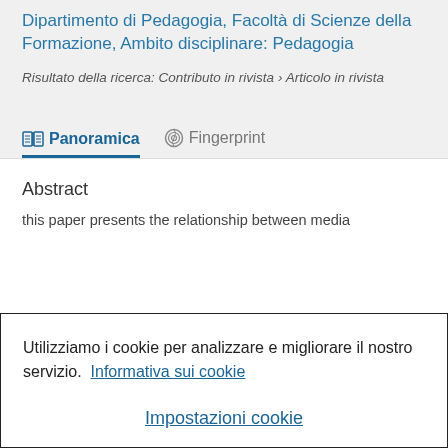Dipartimento di Pedagogia, Facoltà di Scienze della Formazione, Ambito disciplinare: Pedagogia
Risultato della ricerca: Contributo in rivista › Articolo in rivista
Panoramica
Fingerprint
Abstract
this paper presents the relationship between media
Utilizziamo i cookie per analizzare e migliorare il nostro servizio.  Informativa sui cookie
Impostazioni cookie